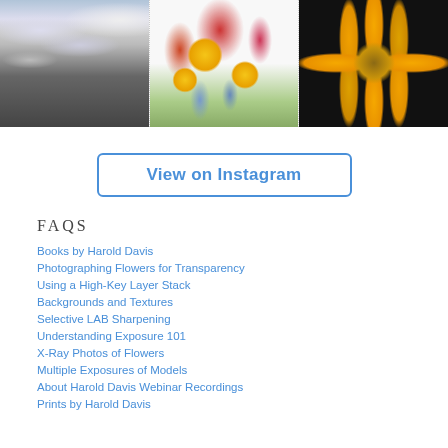[Figure (photo): Black and white landscape photo with dramatic cloudy sky and water/terrain below]
[Figure (photo): Colorful painting or watercolor of sunflowers and wildflowers in red, yellow, and blue]
[Figure (photo): Close-up macro photo of a daisy or sunflower with yellow-orange petals on black background]
View on Instagram
FAQS
Books by Harold Davis
Photographing Flowers for Transparency
Using a High-Key Layer Stack
Backgrounds and Textures
Selective LAB Sharpening
Understanding Exposure 101
X-Ray Photos of Flowers
Multiple Exposures of Models
About Harold Davis Webinar Recordings
Prints by Harold Davis